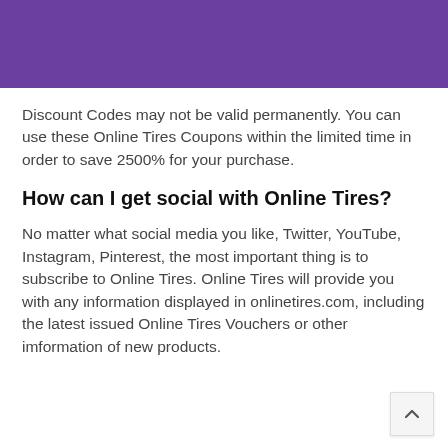Discount Codes may not be valid permanently. You can use these Online Tires Coupons within the limited time in order to save 2500% for your purchase.
How can I get social with Online Tires?
No matter what social media you like, Twitter, YouTube, Instagram, Pinterest, the most important thing is to subscribe to Online Tires. Online Tires will provide you with any information displayed in onlinetires.com, including the latest issued Online Tires Vouchers or other imformation of new products.